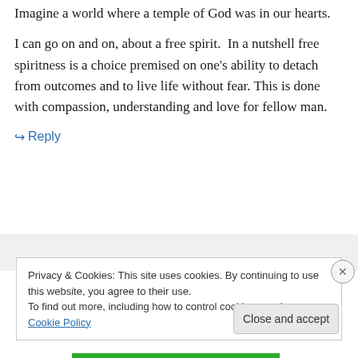Imagine a world where a temple of God was in our hearts.
I can go on and on, about a free spirit.  In a nutshell free spiritness is a choice premised on one's ability to detach from outcomes and to live life without fear. This is done with compassion, understanding and love for fellow man.
↪ Reply
Privacy & Cookies: This site uses cookies. By continuing to use this website, you agree to their use.
To find out more, including how to control cookies, see here: Cookie Policy
Close and accept